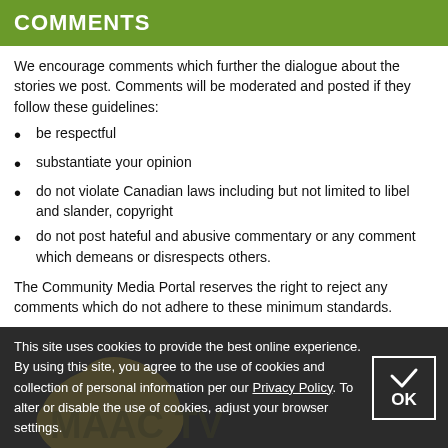COMMENTS
We encourage comments which further the dialogue about the stories we post. Comments will be moderated and posted if they follow these guidelines:
be respectful
substantiate your opinion
do not violate Canadian laws including but not limited to libel and slander, copyright
do not post hateful and abusive commentary or any comment which demeans or disrespects others.
The Community Media Portal reserves the right to reject any comments which do not adhere to these minimum standards.
Video Upload Date: April 30, 2022.
This site uses cookies to provide the best online experience. By using this site, you agree to the use of cookies and collection of personal information per our Privacy Policy. To alter or disable the use of cookies, adjust your browser settings.